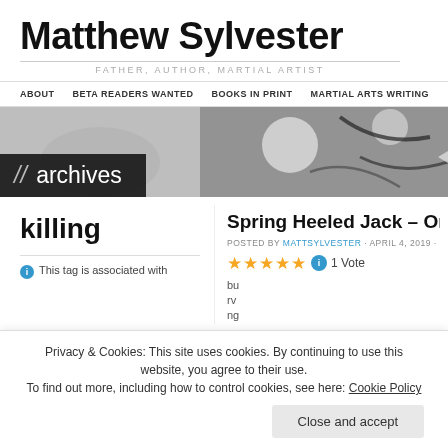Matthew Sylvester
FATHER, AUTHOR, MARTIAL ARTIST
ABOUT | BETA READERS WANTED | BOOKS IN PRINT | MARTIAL ARTS WRITING
[Figure (photo): Black and white photo banner with circular shapes, overlaid with dark banner containing '// archives' text]
killing
This tag is associated with
Spring Heeled Jack – Origin
POSTED BY MATTSYLVESTER · APRIL 4, 2019 ·
★★★★★ 1 Vote
Privacy & Cookies: This site uses cookies. By continuing to use this website, you agree to their use.
To find out more, including how to control cookies, see here: Cookie Policy
Close and accept
The genesis of a book cove REVEAL...